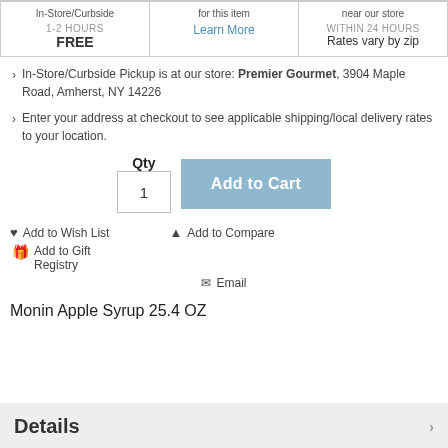| In-Store/Curbside | for this item | near our store |
| --- | --- | --- |
| 1-2 HOURS
FREE | Learn More | WITHIN 24 HOURS
Rates vary by zip |
In-Store/Curbside Pickup is at our store: Premier Gourmet, 3904 Maple Road, Amherst, NY 14226
Enter your address at checkout to see applicable shipping/local delivery rates to your location.
Qty  1  Add to Cart
Add to Wish List   Add to Compare   Add to Gift Registry   Email
Monin Apple Syrup 25.4 OZ
Details